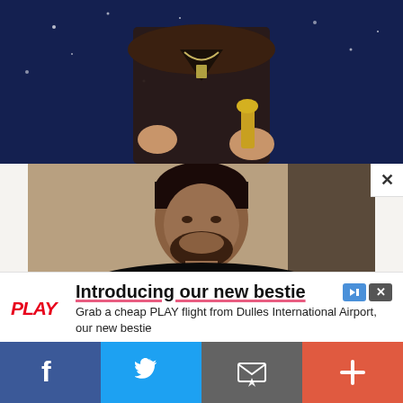[Figure (photo): Top portion of a person wearing a dark leather jacket with a chain necklace, holding a trophy/award, against a dark blue starry background.]
[Figure (photo): A man wearing a black 'Take Care' t-shirt, looking down, holding what appears to be a trophy or instrument. The photo has a warm, candid feel.]
×
[Figure (infographic): Advertisement banner for PLAY Airline. Headline: 'Introducing our new bestie'. Body text: 'Grab a cheap PLAY flight from Dulles International Airport, our new bestie'. Brand: PLAY Airline. CTA button: 'Open'. Icons for skip and close in top right.]
PLAY
Introducing our new bestie
Grab a cheap PLAY flight from Dulles International Airport, our new bestie
PLAY Airline
Open
[Figure (infographic): Social sharing bar at the bottom with four buttons: Facebook (blue), Twitter (light blue), Email/envelope (gray), and More/plus (orange-red).]